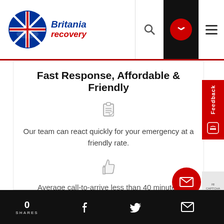[Figure (logo): Britania Recovery logo with UK flag motif]
Fast Response, Affordable & Friendly
[Figure (illustration): Small document/clipboard icon]
Our team can react quickly for your emergency at a friendly rate.
[Figure (illustration): Thumbs up icon]
Average call-to-arrive less than 40 minutes
0 SHARES — Facebook, Twitter, Email share icons